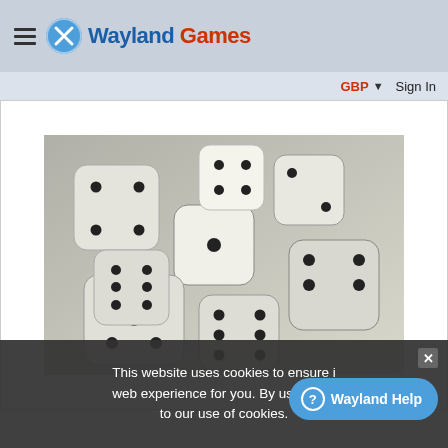Wayland Games
GBP ▾  Sign In
[Figure (photo): Large pile of white dice with black dots, filling the frame in a close-up photograph]
This website uses cookies to ensure i... web experience for you. By using this ... to our use of cookies.
Wayland Help